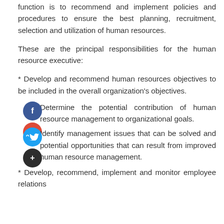function is to recommend and implement policies and procedures to ensure the best planning, recruitment, selection and utilization of human resources.
These are the principal responsibilities for the human resource executive:
* Develop and recommend human resources objectives to be included in the overall organization's objectives.
Determine the potential contribution of human resource management to organizational goals.
Identify management issues that can be solved and potential opportunities that can result from improved human resource management.
* Develop, recommend, implement and monitor employee relations